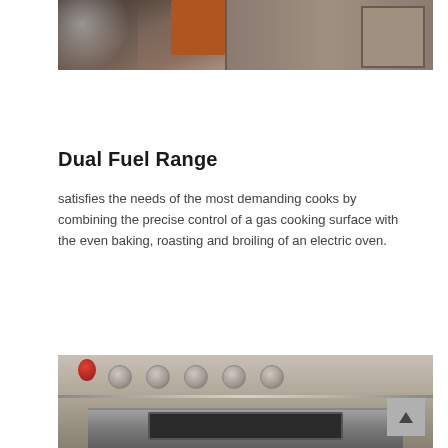[Figure (photo): Kitchen interior showing dark wood cabinets, an orange/copper colored appliance, and a blurred foreground element on the left.]
Dual Fuel Range
satisfies the needs of the most demanding cooks by combining the precise control of a gas cooking surface with the even baking, roasting and broiling of an electric oven.
[Figure (photo): Close-up of a professional dual fuel range showing stainless steel knobs across the top, a red handle or knob, and the oven door with window at the bottom. A scroll-to-top button is visible in the lower right corner.]